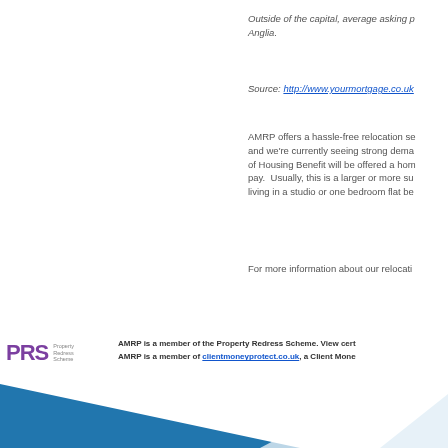Outside of the capital, average asking prices rose fastest in East Anglia.
Source: http://www.yourmortgage.co.uk
AMRP offers a hassle-free relocation service and we're currently seeing strong demand. Recipients of Housing Benefit will be offered a home they can afford to pay. Usually, this is a larger or more suitable home than living in a studio or one bedroom flat before.
For more information about our relocation
AMRP is a member of the Property Redress Scheme. View cert AMRP is a member of clientmoneyprotect.co.uk, a Client Mone